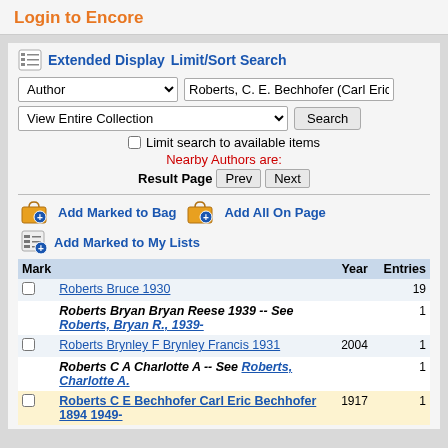Login to Encore
Extended Display   Limit/Sort Search
Author   Roberts, C. E. Bechhofer (Carl Eric Bech...
View Entire Collection   Search
Limit search to available items
Nearby Authors are:
Result Page   Prev   Next
Add Marked to Bag   Add All On Page
Add Marked to My Lists
| Mark |  | Year | Entries |
| --- | --- | --- | --- |
| ☐ | Roberts Bruce 1930 |  | 19 |
|  | Roberts Bryan Bryan Reese 1939 -- See Roberts, Bryan R., 1939- |  | 1 |
| ☐ | Roberts Brynley F Brynley Francis 1931 | 2004 | 1 |
|  | Roberts C A Charlotte A -- See Roberts, Charlotte A. |  | 1 |
| ☐ | Roberts C E Bechhofer Carl Eric Bechhofer 1894 1949- | 1917 | 1 |